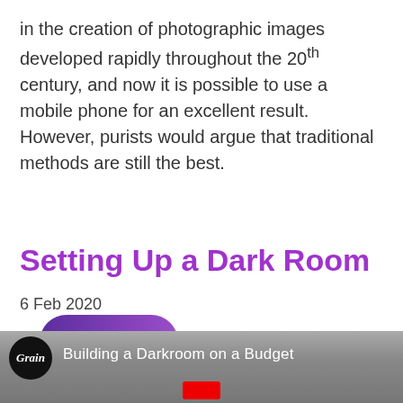in the creation of photographic images developed rapidly throughout the 20th century, and now it is possible to use a mobile phone for an excellent result. However, purists would argue that traditional methods are still the best.
Comment →
Setting Up a Dark Room
6 Feb 2020
[Figure (screenshot): Video thumbnail showing a smiling man in a cap with 'Grain' logo and text 'Building a Darkroom on a Budget']